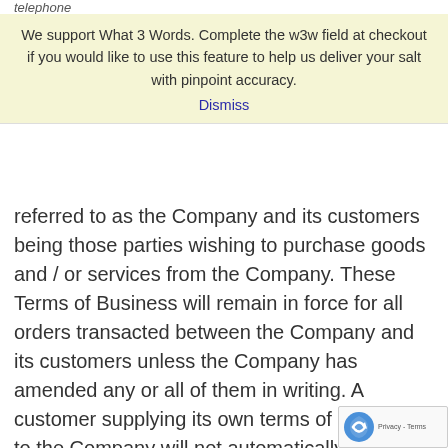telephone
We support What 3 Words. Complete the w3w field at checkout if you would like to use this feature to help us deliver your salt with pinpoint accuracy.
Dismiss
referred to as the Company and its customers being those parties wishing to purchase goods and / or services from the Company. These Terms of Business will remain in force for all orders transacted between the Company and its customers unless the Company has amended any or all of them in writing. A customer supplying its own terms of business to the Company will not automatically mean that the customer's terms take precedent. No business will be conducted with any person, firm or business unless these Terms of Business or any written variation are agreed and the customer accepts that these Terms are